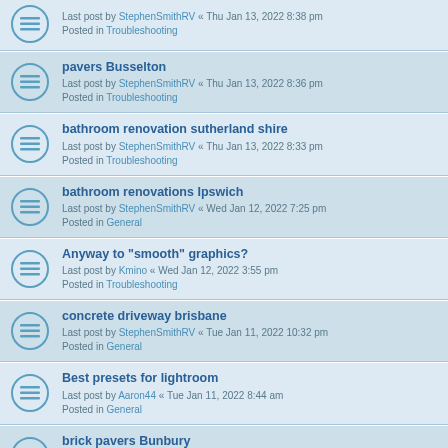Last post by StephenSmithRV « Thu Jan 13, 2022 8:38 pm
Posted in Troubleshooting
pavers Busselton
Last post by StephenSmithRV « Thu Jan 13, 2022 8:36 pm
Posted in Troubleshooting
bathroom renovation sutherland shire
Last post by StephenSmithRV « Thu Jan 13, 2022 8:33 pm
Posted in Troubleshooting
bathroom renovations Ipswich
Last post by StephenSmithRV « Wed Jan 12, 2022 7:25 pm
Posted in General
Anyway to "smooth" graphics?
Last post by Kmino « Wed Jan 12, 2022 3:55 pm
Posted in Troubleshooting
concrete driveway brisbane
Last post by StephenSmithRV « Tue Jan 11, 2022 10:32 pm
Posted in General
Best presets for lightroom
Last post by Aaron44 « Tue Jan 11, 2022 8:44 am
Posted in General
brick pavers Bunbury
Last post by StephenSmithRV « Mon Jan 10, 2022 10:16 pm
Posted in General
tree lopping cairns
Last post by StephenSmithRV « Mon Jan 10, 2022 9:28 pm
Posted in General